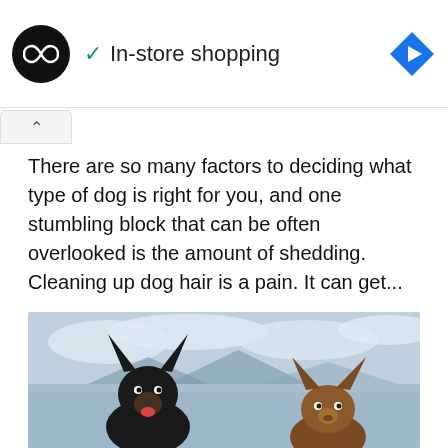[Figure (screenshot): Advertisement bar with black circular logo showing infinity symbol, green checkmark with 'In-store shopping' text, and blue navigation diamond icon on the right]
There are so many factors to deciding what type of dog is right for you, and one stumbling block that can be often overlooked is the amount of shedding. Cleaning up dog hair is a pain. It can get...
CONTINUE READING
[Figure (photo): Two small dogs (miniature pinschers or similar breed) sitting outdoors with a lake and mountains in the background under a cloudy sky]